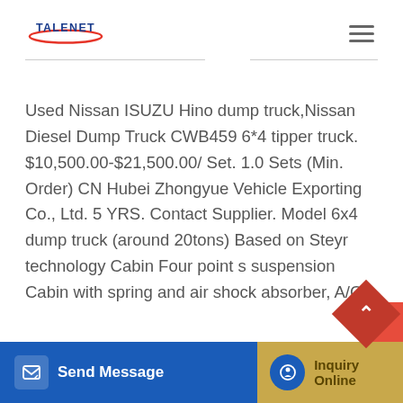[Figure (logo): Talenet logo with red swoosh and blue text]
Used Nissan ISUZU Hino dump truck,Nissan Diesel Dump Truck CWB459 6*4 tipper truck. $10,500.00-$21,500.00/Set. 1.0 Sets (Min. Order) CN Hubei Zhongyue Vehicle Exporting Co., Ltd. 5 YRS. Contact Supplier. Model 6x4 dump truck (around 20tons) Based on Steyr technology Cabin Four point s suspension Cabin with spring and air shock absorber, A/C
[Figure (infographic): Send Message button bar (blue) and Inquiry Online button bar (tan/gold) at bottom of page]